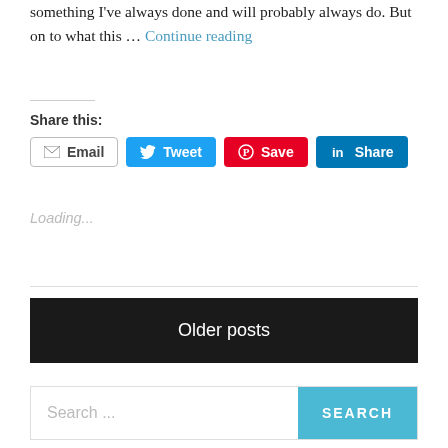something I've always done and will probably always do. But on to what this … Continue reading
Share this:
[Figure (screenshot): Social sharing buttons: Email, Tweet, Save, Share]
Loading...
Older posts
[Figure (screenshot): Search bar with text 'Search ...' and a 'SEARCH' button]